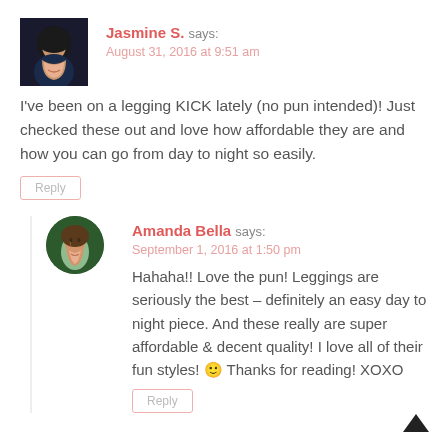Jasmine S. says: August 31, 2016 at 9:51 am
I've been on a legging KICK lately (no pun intended)! Just checked these out and love how affordable they are and how you can go from day to night so easily.
Reply
Amanda Bella says: September 1, 2016 at 1:50 pm
Hahaha!! Love the pun! Leggings are seriously the best – definitely an easy day to night piece. And these really are super affordable & decent quality! I love all of their fun styles! 🙂 Thanks for reading! XOXO
Reply